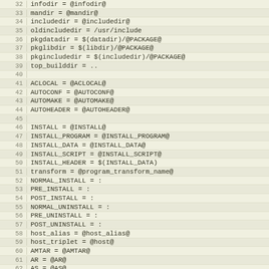32  infodir = @infodir@
33  mandir = @mandir@
34  includedir = @includedir@
35  oldincludedir = /usr/include
36  pkgdatadir = $(datadir)/@PACKAGE@
37  pkglibdir = $(libdir)/@PACKAGE@
38  pkgincludedir = $(includedir)/@PACKAGE@
39  top_builddir = ..
40
41  ACLOCAL = @ACLOCAL@
42  AUTOCONF = @AUTOCONF@
43  AUTOMAKE = @AUTOMAKE@
44  AUTOHEADER = @AUTOHEADER@
45
46  INSTALL = @INSTALL@
47  INSTALL_PROGRAM = @INSTALL_PROGRAM@
48  INSTALL_DATA = @INSTALL_DATA@
49  INSTALL_SCRIPT = @INSTALL_SCRIPT@
50  INSTALL_HEADER = $(INSTALL_DATA)
51  transform = @program_transform_name@
52  NORMAL_INSTALL = :
53  PRE_INSTALL = :
54  POST_INSTALL = :
55  NORMAL_UNINSTALL = :
56  PRE_UNINSTALL = :
57  POST_UNINSTALL = :
58  host_alias = @host_alias@
59  host_triplet = @host@
60  AMTAR = @AMTAR@
61  AR = @AR@
62  AS = @AS@
63  AWK = @AWK@